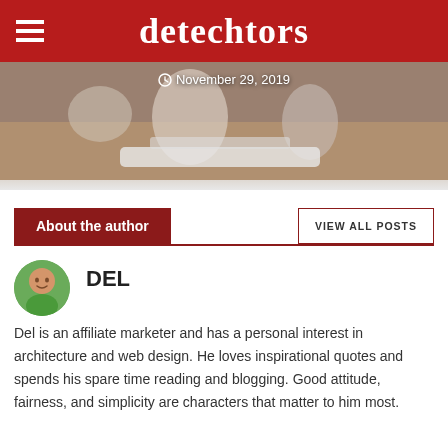detechtors
[Figure (photo): Partial photo of smart home devices on a desk, with date overlay reading November 29, 2019]
About the author
VIEW ALL POSTS
DEL
Del is an affiliate marketer and has a personal interest in architecture and web design. He loves inspirational quotes and spends his spare time reading and blogging. Good attitude, fairness, and simplicity are characters that matter to him most.